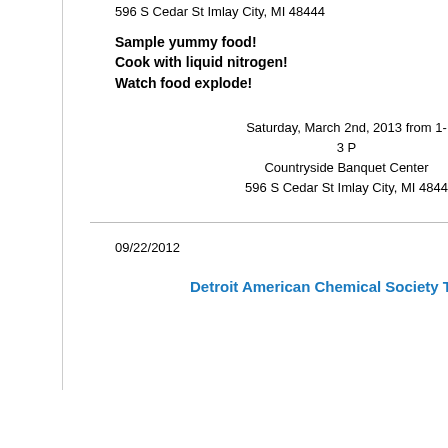596 S Cedar St Imlay City, MI 48444
Sample yummy food!
Cook with liquid nitrogen!
Watch food explode!
Saturday, March 2nd, 2013 from 1-3 P
Countryside Banquet Center
596 S Cedar St Imlay City, MI 4844
09/22/2012
Detroit American Chemical Society T